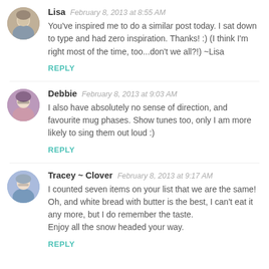Lisa  February 8, 2013 at 8:55 AM
You've inspired me to do a similar post today. I sat down to type and had zero inspiration. Thanks! :) (I think I'm right most of the time, too...don't we all?!) ~Lisa
REPLY
Debbie  February 8, 2013 at 9:03 AM
I also have absolutely no sense of direction, and favourite mug phases. Show tunes too, only I am more likely to sing them out loud :)
REPLY
Tracey ~ Clover  February 8, 2013 at 9:17 AM
I counted seven items on your list that we are the same! Oh, and white bread with butter is the best, I can't eat it any more, but I do remember the taste.
Enjoy all the snow headed your way.
REPLY